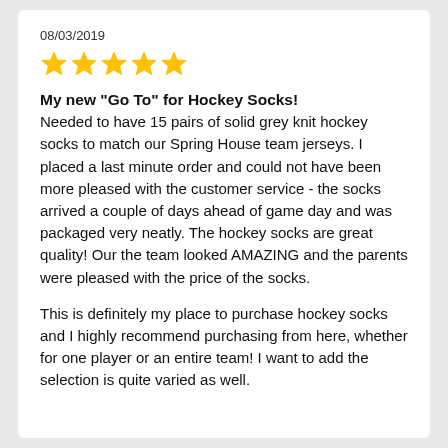08/03/2019
[Figure (other): Five yellow star rating icons]
My new "Go To" for Hockey Socks! Needed to have 15 pairs of solid grey knit hockey socks to match our Spring House team jerseys. I placed a last minute order and could not have been more pleased with the customer service - the socks arrived a couple of days ahead of game day and was packaged very neatly. The hockey socks are great quality! Our the team looked AMAZING and the parents were pleased with the price of the socks.

This is definitely my place to purchase hockey socks and I highly recommend purchasing from here, whether for one player or an entire team! I want to add the selection is quite varied as well.